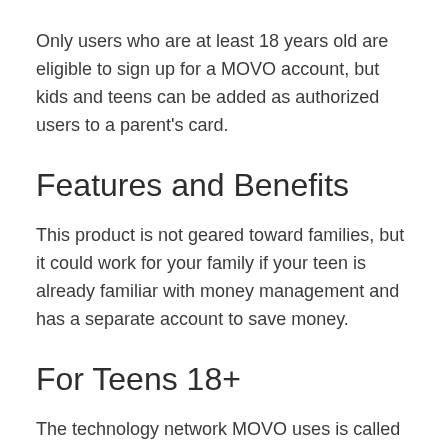Only users who are at least 18 years old are eligible to sign up for a MOVO account, but kids and teens can be added as authorized users to a parent's card.
Features and Benefits
This product is not geared toward families, but it could work for your family if your teen is already familiar with money management and has a separate account to save money.
For Teens 18+
The technology network MOVO uses is called HyperBIN. More than 45 million merchants and a million ATMs